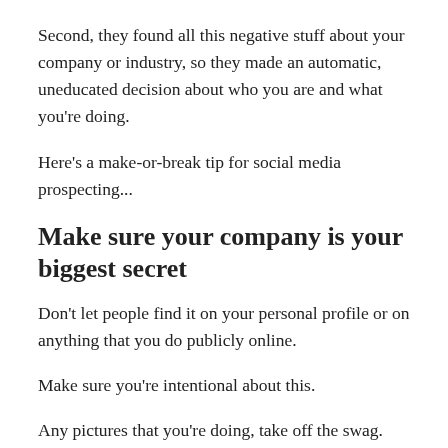Second, they found all this negative stuff about your company or industry, so they made an automatic, uneducated decision about who you are and what you're doing.
Here's a make-or-break tip for social media prospecting...
Make sure your company is your biggest secret
Don't let people find it on your personal profile or on anything that you do publicly online.
Make sure you're intentional about this.
Any pictures that you're doing, take off the swag.
Take off your company logo.